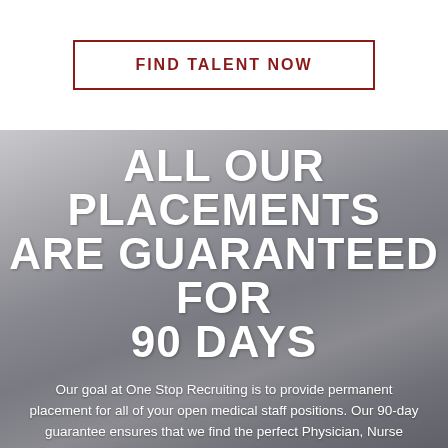FIND TALENT NOW
ALL OUR PLACEMENTS ARE GUARANTEED FOR 90 DAYS
Our goal at One Stop Recruiting is to provide permanent placement for all of your open medical staff positions. Our 90-day guarantee ensures that we find the perfect Physician, Nurse Practitioner, Physician Assistant, or Registered Nurse to be an excellent addition to your staff.